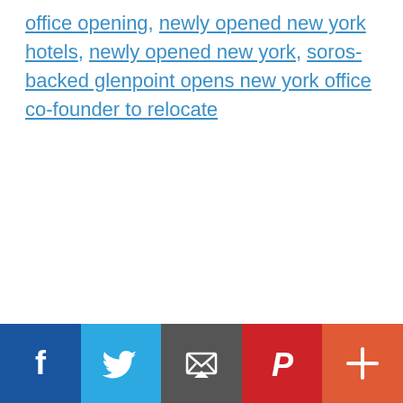office opening, newly opened new york hotels, newly opened new york, soros-backed glenpoint opens new york office co-founder to relocate
[Figure (infographic): Social sharing bar with five buttons: Facebook (blue), Twitter (light blue), Email (dark gray), Pinterest (red), More (orange-red)]